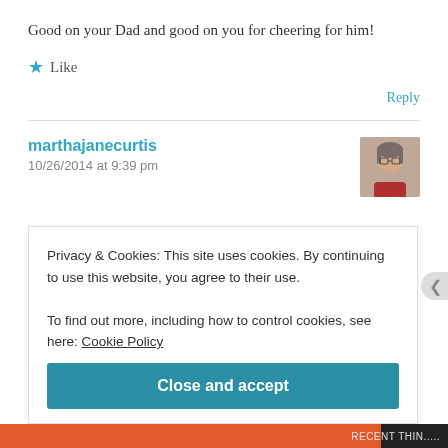Good on your Dad and good on you for cheering for him!
★ Like
Reply
marthajanecurtis
10/26/2014 at 9:39 pm
[Figure (photo): Avatar photo of commenter marthajanecurtis, a woman with glasses and short hair wearing a red top]
Privacy & Cookies: This site uses cookies. By continuing to use this website, you agree to their use.
To find out more, including how to control cookies, see here: Cookie Policy
Close and accept